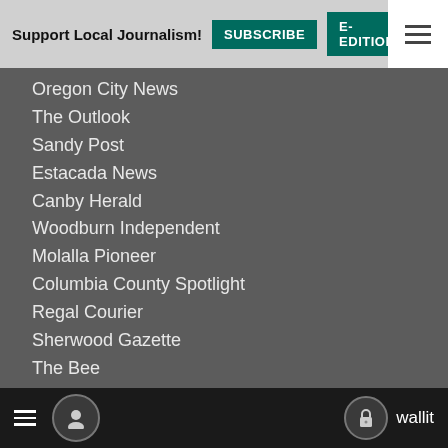Support Local Journalism! SUBSCRIBE E-EDITION NEWSLET
Oregon City News
The Outlook
Sandy Post
Estacada News
Canby Herald
Woodburn Independent
Molalla Pioneer
Columbia County Spotlight
Regal Courier
Sherwood Gazette
The Bee
Southwest Community Connection
Central Oregon
Madras Pioneer
Central Oregonian
≡  [user icon]  [lock icon] wallit